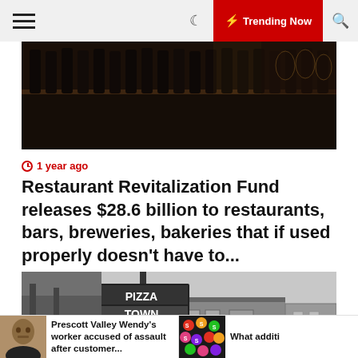☰  🌙  ⚡ Trending Now  🔍
[Figure (photo): Dark photo of wine bottles on a shelf with glasses visible in background]
1 year ago
Restaurant Revitalization Fund releases $28.6 billion to restaurants, bars, breweries, bakeries that if used properly doesn't have to...
[Figure (photo): Black and white photo of Pizza Town USA restaurant with signage visible]
[Figure (photo): Headshot photo of a man]
Prescott Valley Wendy's worker accused of assault after customer...
[Figure (photo): Colorful skittles candy]
What additi